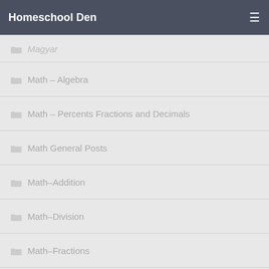Homeschool Den
Magyar
Math – Algebra
Math – Percents Fractions and Decimals
Math General Posts
Math–Addition
Math–Division
Math–Fractions
Math–Geometry
Math–Multiplication